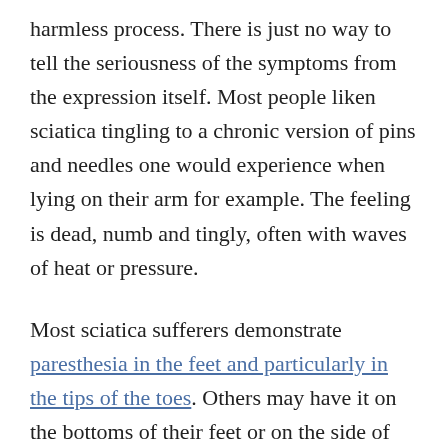harmless process. There is just no way to tell the seriousness of the symptoms from the expression itself. Most people liken sciatica tingling to a chronic version of pins and needles one would experience when lying on their arm for example. The feeling is dead, numb and tingly, often with waves of heat or pressure.
Most sciatica sufferers demonstrate paresthesia in the feet and particularly in the tips of the toes. Others may have it on the bottoms of their feet or on the side of the foot. Still more patients may have widespread areas of tingling anywhere on the leg, including the thigh, calf or knee.
Tingling is usually found...